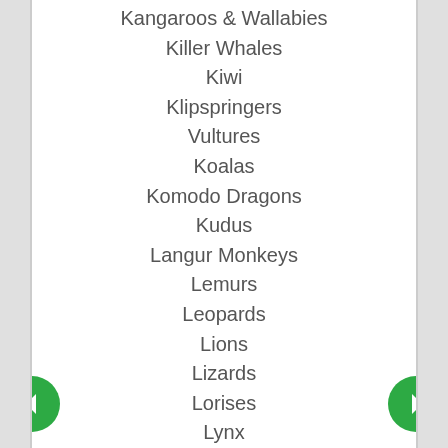Kangaroos & Wallabies
Killer Whales
Kiwi
Klipspringers
Vultures
Koalas
Komodo Dragons
Kudus
Langur Monkeys
Lemurs
Leopards
Lions
Lizards
Lorises
Lynx
Macaques
Manatees
Mandrills
Mangabey Monkeys